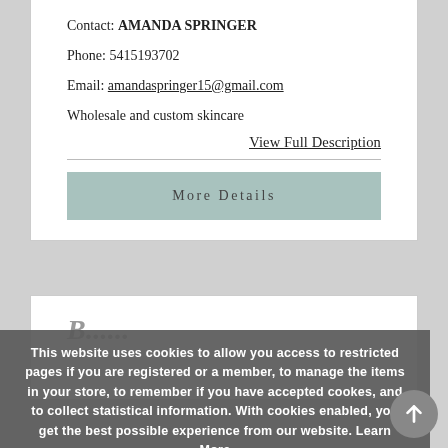Contact: AMANDA SPRINGER
Phone: 5415193702
Email: amandaspringer15@gmail.com
Wholesale and custom skincare
View Full Description
More Details
This website uses cookies to allow you access to restricted pages if you are registered or a member, to manage the items in your store, to remember if you have accepted cookes, and to collect statistical information. With cookies enabled, you get the best possible experience from our website. Learn More
Got It!